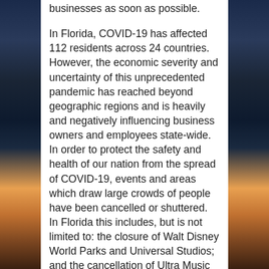businesses as soon as possible.
In Florida, COVID-19 has affected 112 residents across 24 countries. However, the economic severity and uncertainty of this unprecedented pandemic has reached beyond geographic regions and is heavily and negatively influencing business owners and employees state-wide. In order to protect the safety and health of our nation from the spread of COVID-19, events and areas which draw large crowds of people have been cancelled or shuttered.  In Florida this includes, but is not limited to: the closure of Walt Disney World Parks and Universal Studios; and the cancellation of Ultra Music Festival; Calle Ocho Festival; National Hockey League and National Basketball Association seasons; and the Global Health Conference and Exhibition. As you can